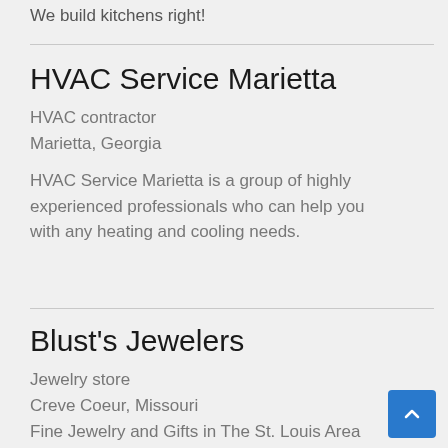We build kitchens right!
HVAC Service Marietta
HVAC contractor
Marietta, Georgia
HVAC Service Marietta is a group of highly experienced professionals who can help you with any heating and cooling needs.
Blust's Jewelers
Jewelry store
Creve Coeur, Missouri
Fine Jewelry and Gifts in The St. Louis Area